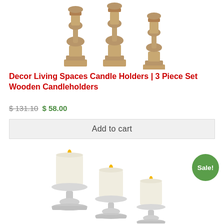[Figure (photo): Three wooden candle holders with turned baluster-style columns on square bases, in a natural/weathered brown finish, arranged in a row from tallest to shortest.]
Decor Living Spaces Candle Holders | 3 Piece Set Wooden Candleholders
$ 131.10  $ 58.00
Add to cart
[Figure (photo): Three pillar candles on silver metal candlestick holders of varying heights, with lit flames, arranged from tallest to shortest.]